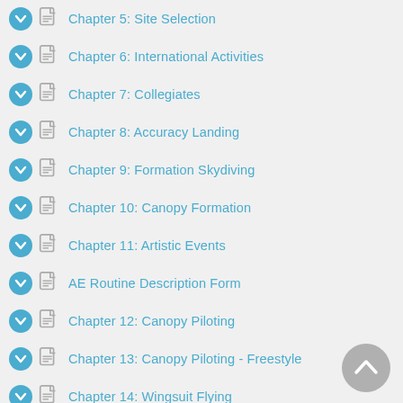Chapter 5: Site Selection
Chapter 6: International Activities
Chapter 7: Collegiates
Chapter 8: Accuracy Landing
Chapter 9: Formation Skydiving
Chapter 10: Canopy Formation
Chapter 11: Artistic Events
AE Routine Description Form
Chapter 12: Canopy Piloting
Chapter 13: Canopy Piloting - Freestyle
Chapter 14: Wingsuit Flying
ISC Wingsuit Grid
Chapter 15: Speed Skydiving